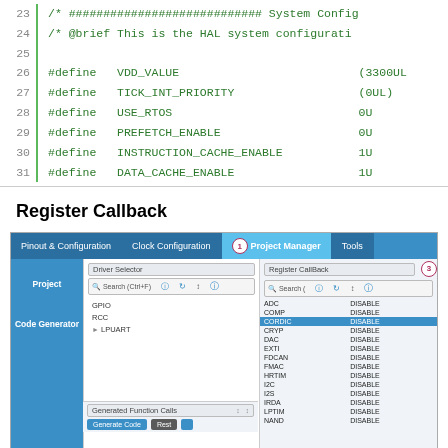[Figure (screenshot): Code editor showing lines 23-31 of a C/HAL configuration file with #define directives for VDD_VALUE, TICK_INT_PRIORITY, USE_RTOS, PREFETCH_ENABLE, INSTRUCTION_CACHE_ENABLE, DATA_CACHE_ENABLE]
Register Callback
[Figure (screenshot): STM32CubeMX IDE screenshot showing Project Manager tab (circled 1), with Driver Selector panel listing GPIO, RCC, LPUART, and Register CallBack panel (circled 3) listing peripherals ADC, COMP, CORDIC (highlighted), CRYP, DAC, EXTI, FDCAN, FMAC, HRTIM, I2C, I2S, IRDA, LPTIM, NAND all set to DISABLE. Left nav shows Project and Code Generator sections. Bottom shows Generated Function Calls panel.]